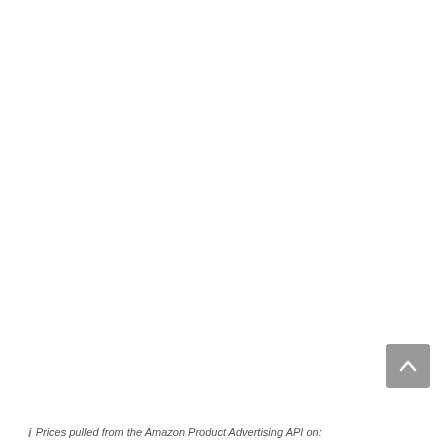[Figure (other): Scroll-to-top button: a dark grey rounded rectangle with an upward-pointing chevron/caret arrow in white, positioned in the lower-right area of the page.]
i  Prices pulled from the Amazon Product Advertising API on: